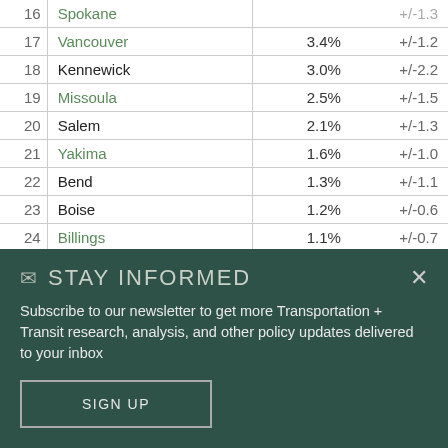| # | City/Area | Share | +/- |
| --- | --- | --- | --- |
| 16 | Spokane | ~% | +/-1.3 |
| 17 | Vancouver | 3.4% | +/-1.2 |
| 18 | Kennewick | 3.0% | +/-2.2 |
| 19 | Missoula | 2.5% | +/-1.5 |
| 20 | Salem | 2.1% | +/-1.3 |
| 21 | Yakima | 1.6% | +/-1.0 |
| 22 | Bend | 1.3% | +/-1.1 |
| 23 | Boise | 1.2% | +/-0.6 |
| 24 | Billings | 1.1% | +/-0.7 |
| 25 | Idaho | 1.0% | +/-0.2 |
| 26 | Spokane Valley | 1.0% | +/-0.6 |
| 27 | Montana | 0.8% | +/-0.2 |
STAY INFORMED
Subscribe to our newsletter to get more Transportation + Transit research, analysis, and other policy updates delivered to your inbox
SIGN UP